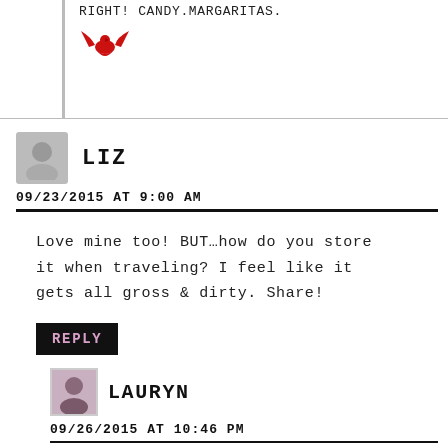RIGHT! CANDY.MARGARITAS.
LIZ
09/23/2015 AT 9:00 AM
Love mine too! BUT…how do you store it when traveling? I feel like it gets all gross & dirty. Share!
REPLY
LAURYN
09/26/2015 AT 10:46 PM
Hi Liz, I clean it after every use and let it air out before packing. I